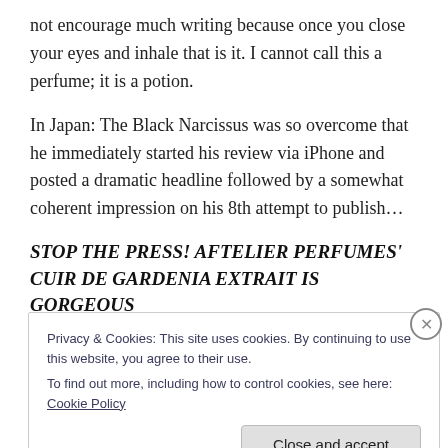not encourage much writing because once you close your eyes and inhale that is it. I cannot call this a perfume; it is a potion.
In Japan: The Black Narcissus was so overcome that he immediately started his review via iPhone and posted a dramatic headline followed by a somewhat coherent impression on his 8th attempt to publish…
STOP THE PRESS! AFTELIER PERFUMES' CUIR DE GARDENIA EXTRAIT IS GORGEOUS
Privacy & Cookies: This site uses cookies. By continuing to use this website, you agree to their use.
To find out more, including how to control cookies, see here: Cookie Policy
Close and accept